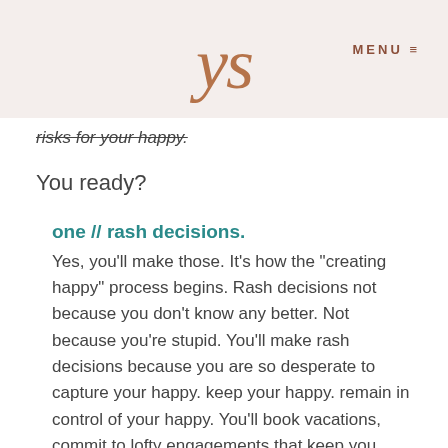ys  MENU
risks for your happy.
You ready?
one // rash decisions.
Yes, you'll make those. It's how the "creating happy" process begins. Rash decisions not because you don't know any better. Not because you're stupid. You'll make rash decisions because you are so desperate to capture your happy. keep your happy. remain in control of your happy. You'll book vacations, commit to lofty engagements that keep you surrounded by good people, or something more permanent like quit your job, or sign a lease on a gorgeous apartment because well... you've gotta